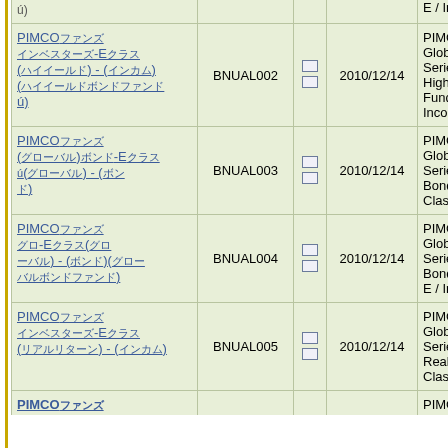| Name | Code | Flag | Date | Description |
| --- | --- | --- | --- | --- |
| PIMCO[JA]-E[JA] (partial/clipped) |  |  | E / Income |
| PIMCO[JA][JA][JA]-E[JA][JA] ([JA][JA][JA][JA]) - ([JA][JA][JA]) ([JA][JA][JA][JA][JA][JA][JA][JA][JA]) | BNUAL002 |  | 2010/12/14 | PIMCO Funds Global Investors Series plc G High Yield B Fund Class Income |
| PIMCO[JA][JA][JA] ([JA][JA][JA][JA])[JA][JA]-E[JA][JA] ([JA][JA][JA][JA]) - ([JA][JA] [JA][JA]) | BNUAL003 |  | 2010/12/14 | PIMCO Funds Global Investors Series plc G Bond Ex-US Class E / Inc |
| PIMCO[JA][JA][JA] [JA][JA]-E[JA][JA][JA]([JA][JA] [JA][JA]) - ([JA][JA][JA][JA])([JA][JA][JA] [JA][JA][JA][JA][JA][JA][JA][JA][JA]) | BNUAL004 |  | 2010/12/14 | PIMCO Funds Global Investors Series plc G Bond Fund C E / Income |
| PIMCO[JA][JA][JA] [JA][JA][JA][JA][JA]-E[JA][JA][JA] ([JA][JA][JA][JA]) - ([JA][JA][JA]) | BNUAL005 |  | 2010/12/14 | PIMCO Funds Global Investors Series plc G Real Return Class E / Inc |
| PIMCO[JA][JA][JA] (partial/clipped) |  |  | PIMCO Fund |